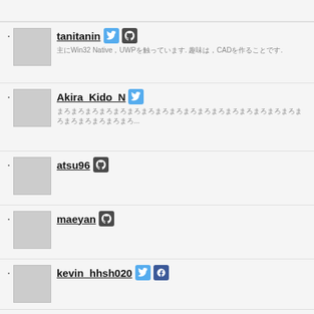tanitanin (Twitter, GitHub) - Win32 Native, UWP. CAD...
Akira_Kido_N (Twitter) - ...
atsu96 (GitHub)
maeyan (GitHub)
kevin_hhsh020 (Twitter, Facebook)
quicknurse
NOGPON (Twitter)
(Facebook)